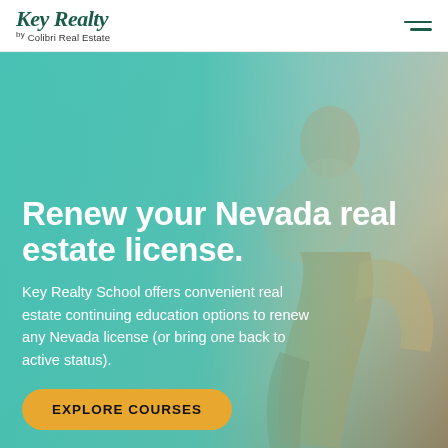Key Realty School by Colibri Real Estate
[Figure (photo): Hero banner with a woman sitting and looking upward, with a teal/mint color overlay on the left side blending into a photographic background]
Renew your Nevada real estate license.
Key Realty School offers convenient real estate continuing education options to renew any Nevada license (or bring one back to active status).
EXPLORE COURSES